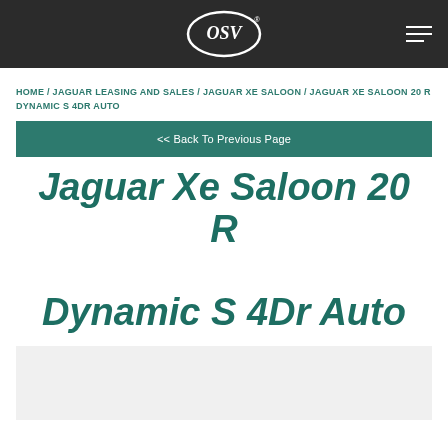OSV logo and navigation
HOME / JAGUAR LEASING AND SALES / JAGUAR XE SALOON / JAGUAR XE SALOON 20 R DYNAMIC S 4DR AUTO
<< Back To Previous Page
Jaguar Xe Saloon 20 R Dynamic S 4Dr Auto
[Figure (photo): Light grey placeholder area for vehicle image]